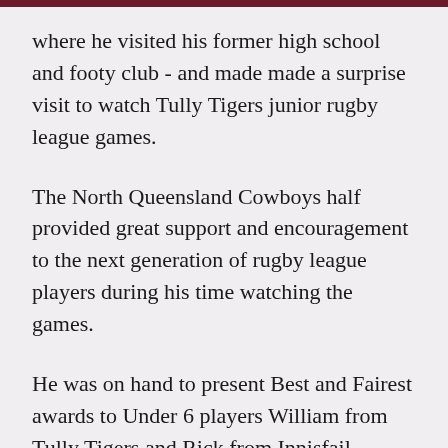where he visited his former high school and footy club - and made made a surprise visit to watch Tully Tigers junior rugby league games.
The North Queensland Cowboys half provided great support and encouragement to the next generation of rugby league players during his time watching the games.
He was on hand to present Best and Fairest awards to Under 6 players William from Tully Tigers and Rick from Innisfail Brothers, as well